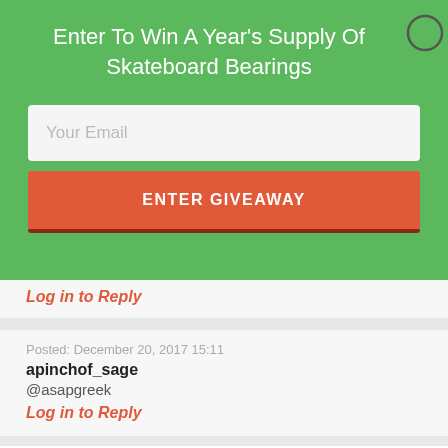Enter To Win A Year's Supply Of Skateboard Bearings
[Figure (screenshot): Email input field with placeholder 'Your Email']
ENTER GIVEAWAY
Log in to Reply
Posted: December 20, 2017 15:11
apinchof_sage
@asapgreek
Log in to Reply
Posted: December 20, 2017 15:21
asapgreek
Yeah that's wild @apinchof_sage